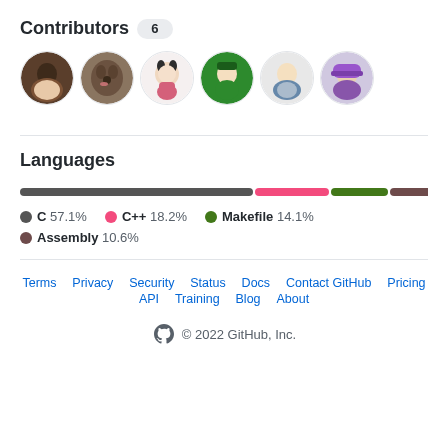Contributors 6
[Figure (illustration): Six circular avatar images of GitHub contributors in a row]
Languages
[Figure (stacked-bar-chart): Languages]
C 57.1%
C++ 18.2%
Makefile 14.1%
Assembly 10.6%
Terms  Privacy  Security  Status  Docs  Contact GitHub  Pricing  API  Training  Blog  About
© 2022 GitHub, Inc.